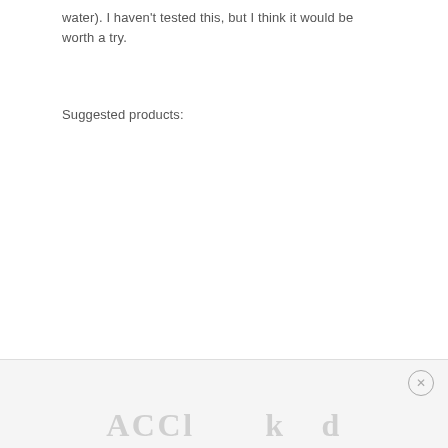water). I haven't tested this, but I think it would be worth a try.
Suggested products:
ACCl... [watermark/logo text partially visible]